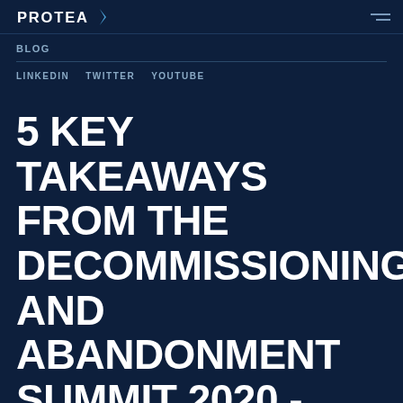PROTEA [logo with lightning bolt]
BLOG
LINKEDIN   TWITTER   YOUTUBE
5 KEY TAKEAWAYS FROM THE DECOMMISSIONING AND ABANDONMENT SUMMIT 2020 - DECOM WORLD